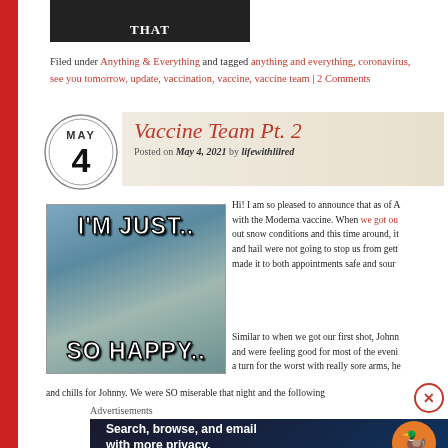[Figure (photo): Top partial image with 'THAT' text overlay]
Filed under Anything & Everything and tagged anything and everything, coronavirus, see you tomorrow, update, vaccination, vaccine, vaccine team | 2 Comments
Vaccine Team Pt. 2
Posted on May 4, 2021 by lifewithlilred
[Figure (photo): Meme with crying man text: I'M JUST.. SO HAPPY..]
Hi! I am so pleased to announce that as of A with the Moderna vaccine. When we got ou out snow conditions and this time around, it and hail were not going to stop us from gett made it to both appointments safe and sour
Similar to when we got our first shot, Johnn and were feeling good for most of the eveni a turn for the worst with really sore arms, he and chills for Johnny. We were SO miserable that night and the following
Advertisements
[Figure (screenshot): DuckDuckGo advertisement banner: Search, browse, and email with more privacy. All in One Free App]